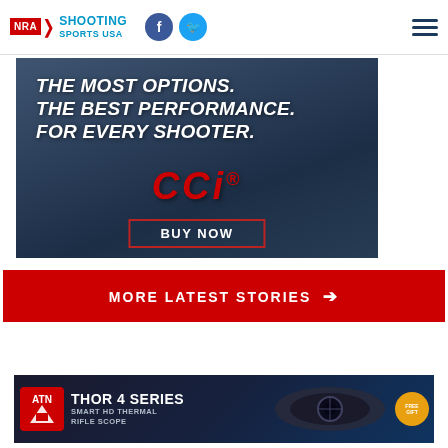[Figure (logo): NRA Shooting Sports USA logo with social media icons (Facebook, Twitter) and hamburger menu]
[Figure (infographic): CCI ammunition advertisement: 'The Most Options. The Best Performance. For Every Shooter.' with CCI logo and BUY NOW button on dark blue gradient background]
MORE LATEST STORIES →
[Figure (infographic): ATN Thor 4 Series Smart HD Thermal Rifle Scope advertisement with scope image and orange badge]